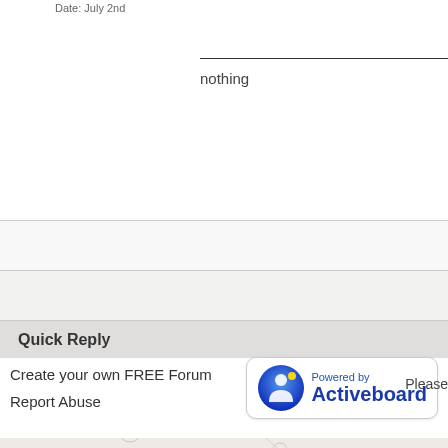Date: July 2nd
nothing
Quick Reply
Please
Create your own FREE Forum
Report Abuse
[Figure (logo): Powered by Activeboard logo with blue icon]